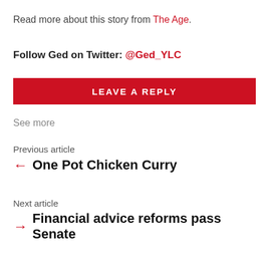Read more about this story from The Age.
Follow Ged on Twitter: @Ged_YLC
LEAVE A REPLY
See more
Previous article
One Pot Chicken Curry
Next article
Financial advice reforms pass Senate